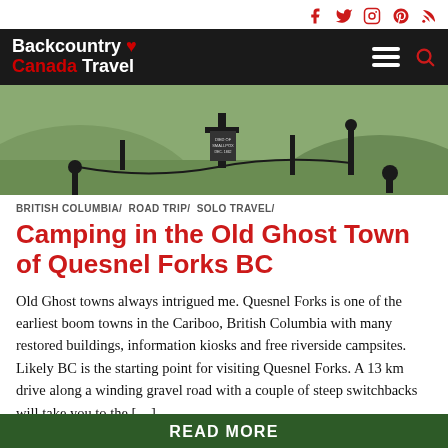Social icons: Facebook, Twitter, Instagram, Pinterest, RSS
Backcountry Canada Travel — navigation bar with hamburger menu and search
[Figure (photo): Outdoor cemetery with black iron crosses and posts, green grassy hillside background — Quesnel Forks ghost town]
BRITISH COLUMBIA/ ROAD TRIP/ SOLO TRAVEL/
Camping in the Old Ghost Town of Quesnel Forks BC
Old Ghost towns always intrigued me. Quesnel Forks is one of the earliest boom towns in the Cariboo, British Columbia with many restored buildings, information kiosks and free riverside campsites. Likely BC is the starting point for visiting Quesnel Forks. A 13 km drive along a winding gravel road with a couple of steep switchbacks will take you to the […]
READ MORE